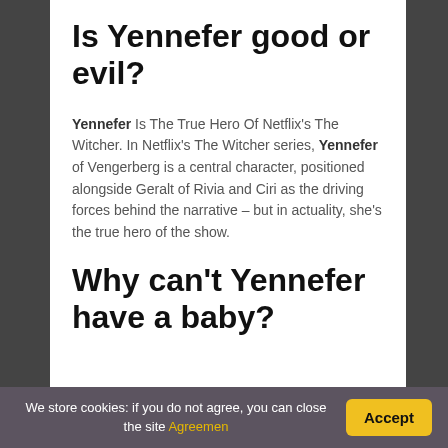Is Yennefer good or evil?
Yennefer Is The True Hero Of Netflix's The Witcher. In Netflix's The Witcher series, Yennefer of Vengerberg is a central character, positioned alongside Geralt of Rivia and Ciri as the driving forces behind the narrative – but in actuality, she's the true hero of the show.
Why can't Yennefer have a baby?
We store cookies: if you do not agree, you can close the site Agreemen